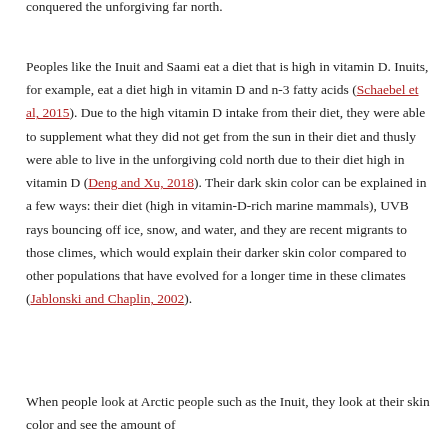conquered the unforgiving far north.
Peoples like the Inuit and Saami eat a diet that is high in vitamin D. Inuits, for example, eat a diet high in vitamin D and n-3 fatty acids (Schaebel et al, 2015). Due to the high vitamin D intake from their diet, they were able to supplement what they did not get from the sun in their diet and thusly were able to live in the unforgiving cold north due to their diet high in vitamin D (Deng and Xu, 2018). Their dark skin color can be explained in a few ways: their diet (high in vitamin-D-rich marine mammals), UVB rays bouncing off ice, snow, and water, and they are recent migrants to those climes, which would explain their darker skin color compared to other populations that have evolved for a longer time in these climates (Jablonski and Chaplin, 2002).
When people look at Arctic people such as the Inuit, they look at their skin color and see the amount of